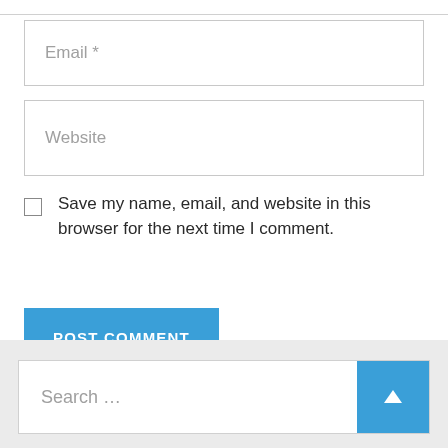Email *
Website
Save my name, email, and website in this browser for the next time I comment.
POST COMMENT
Search …